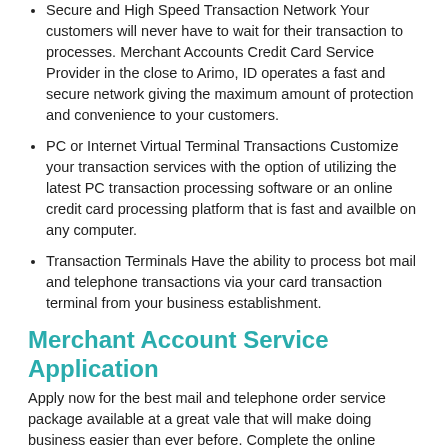Secure and High Speed Transaction Network Your customers will never have to wait for their transaction to processes. Merchant Accounts Credit Card Service Provider in the close to Arimo, ID operates a fast and secure network giving the maximum amount of protection and convenience to your customers.
PC or Internet Virtual Terminal Transactions Customize your transaction services with the option of utilizing the latest PC transaction processing software or an online credit card processing platform that is fast and availble on any computer.
Transaction Terminals Have the ability to process bot mail and telephone transactions via your card transaction terminal from your business establishment.
Merchant Account Service Application
Apply now for the best mail and telephone order service package available at a great vale that will make doing business easier than ever before. Complete the online application to set up your MOTO package today.
POS Systems Providers in Arimo, ID